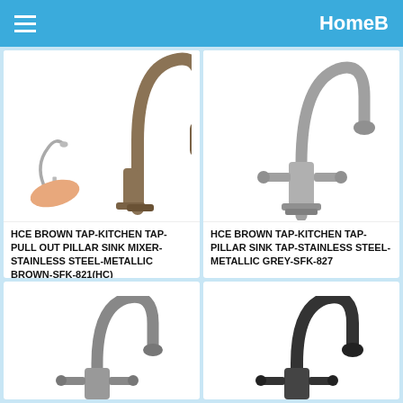HomeB
[Figure (photo): Kitchen tap - HCE Brown Tap-Kitchen Tap-Pull Out Pillar Sink Mixer-Stainless Steel-Metallic Brown-SFK-821(HC)]
HCE BROWN TAP-KITCHEN TAP-PULL OUT PILLAR SINK MIXER-STAINLESS STEEL-METALLIC BROWN-SFK-821(HC)
[Figure (photo): Kitchen tap - HCE Brown Tap-Kitchen Tap-Pillar Sink Tap-Stainless Steel-Metallic Grey-SFK-827]
HCE BROWN TAP-KITCHEN TAP-PILLAR SINK TAP-STAINLESS STEEL-METALLIC GREY-SFK-827
[Figure (photo): Grey pillar sink tap (partially visible)]
[Figure (photo): Black pillar sink tap (partially visible)]